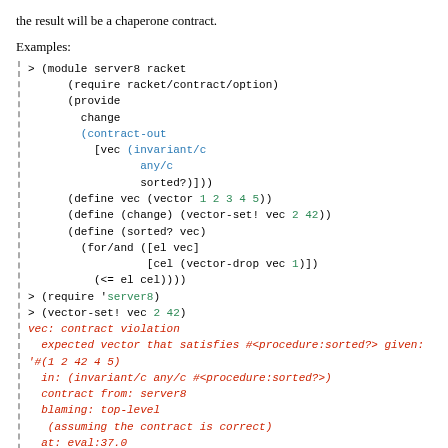the result will be a chaperone contract.
Examples:
> (module server8 racket
    (require racket/contract/option)
    (provide
      change
      (contract-out
        [vec (invariant/c
               any/c
               sorted?)]))
    (define vec (vector 1 2 3 4 5))
    (define (change) (vector-set! vec 2 42))
    (define (sorted? vec)
      (for/and ([el vec]
                [cel (vector-drop vec 1)])
        (<= el cel))))
> (require 'server8)
> (vector-set! vec 2 42)
vec: contract violation
  expected vector that satisfies #<procedure:sorted?> given:
'#(1 2 42 4 5)
  in: (invariant/c any/c #<procedure:sorted?>)
  contract from: server8
  blaming: top-level
   (assuming the contract is correct)
  at: eval:37.0
> (change)
> (vector-ref vec 2)
vec: broke its own contract